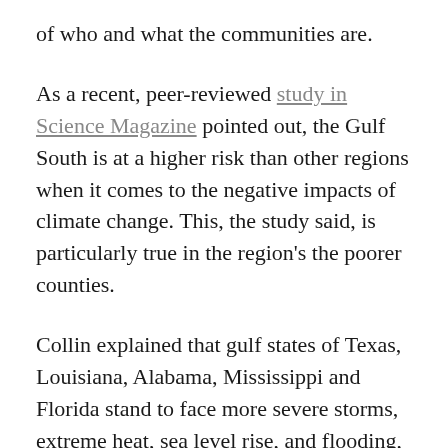of who and what the communities are.
As a recent, peer-reviewed study in Science Magazine pointed out, the Gulf South is at a higher risk than other regions when it comes to the negative impacts of climate change. This, the study said, is particularly true in the region's the poorer counties.
Collin explained that gulf states of Texas, Louisiana, Alabama, Mississippi and Florida stand to face more severe storms, extreme heat, sea level rise, and flooding, as well as an increase in migration and disease vectors like mosquitos—all due to climate change. These problems will be